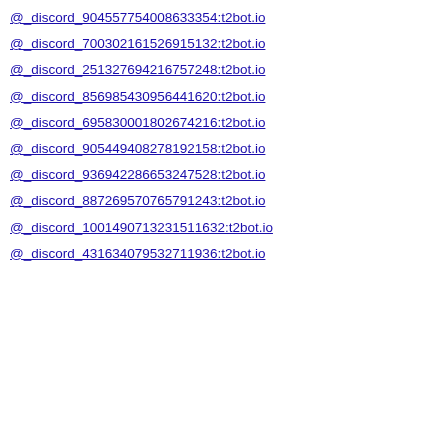@_discord_904557754008633354:t2bot.io
@_discord_700302161526915132:t2bot.io
@_discord_251327694216757248:t2bot.io
@_discord_856985430956441620:t2bot.io
@_discord_695830001802674216:t2bot.io
@_discord_905449408278192158:t2bot.io
@_discord_936942286653247528:t2bot.io
@_discord_887269570765791243:t2bot.io
@_discord_1001490713231511632:t2bot.io
@_discord_431634079532711936:t2bot.io